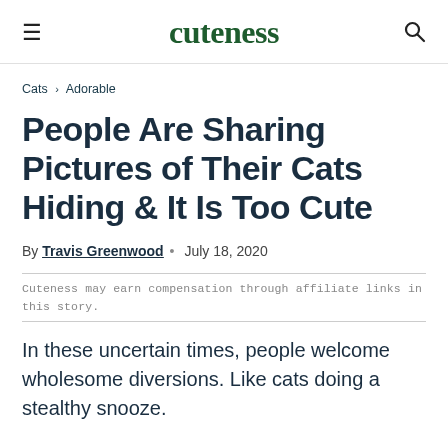cuteness
Cats › Adorable
People Are Sharing Pictures of Their Cats Hiding & It Is Too Cute
By Travis Greenwood • July 18, 2020
Cuteness may earn compensation through affiliate links in this story.
In these uncertain times, people welcome wholesome diversions. Like cats doing a stealthy snooze.
That, anyways, is the takeaway from a now viral tweet